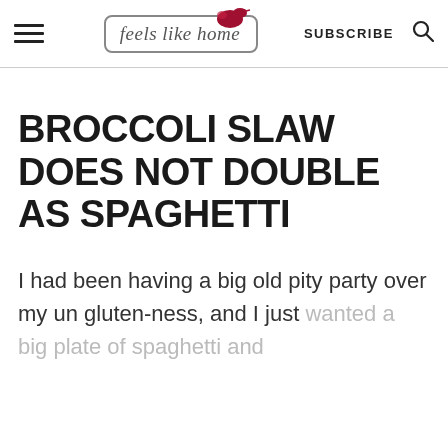feels like home — SUBSCRIBE
BROCCOLI SLAW DOES NOT DOUBLE AS SPAGHETTI
I had been having a big old pity party over my un gluten-ness, and I just wanted a big plate of spaghetti and